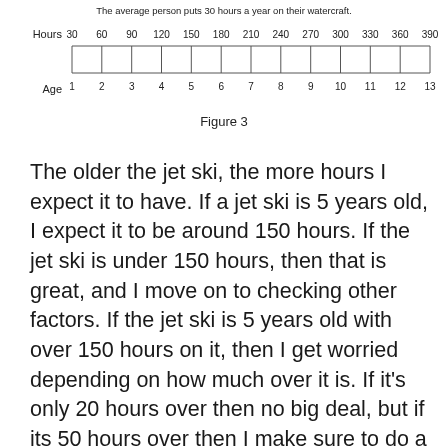[Figure (other): A dual-axis timeline/ruler showing Hours (30 to 390, steps of 30) and corresponding Age (1 to 13) for a watercraft, with tick marks between the two rows.]
Figure 3
The older the jet ski, the more hours I expect it to have. If a jet ski is 5 years old, I expect it to be around 150 hours. If the jet ski is under 150 hours, then that is great, and I move on to checking other factors. If the jet ski is 5 years old with over 150 hours on it, then I get worried depending on how much over it is. If it's only 20 hours over then no big deal, but if its 50 hours over then I make sure to do a more thorough inspection to ensure everything else is fine.